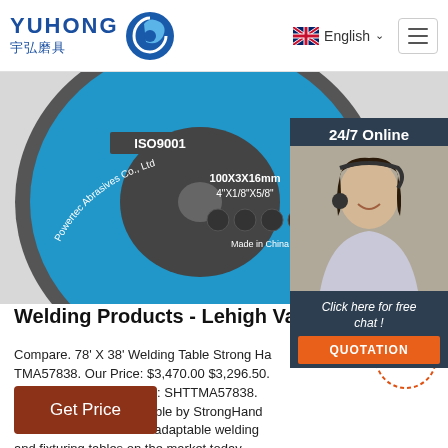YUHONG 宇弘磨具 — English
[Figure (photo): Close-up photo of a blue grinding/cutting abrasive disc labeled ISO9001, 100X3X16mm 4"X1/8"X5/8", Made in China, Powertec Abrasives Co., Ltd., with safety rating symbols]
[Figure (photo): Chat widget showing a customer service agent (woman with headset) and text '24/7 Online', 'Click here for free chat!', and a QUOTATION button]
Welding Products - Lehigh Valley
Compare. 78' X 38' Welding Table Strong Ha TMA57838. Our Price: $3,470.00 $3,296.50. Brand. Stronghand. SKU: SHTTMA57838. The Build Pro welding table by StrongHand Tools is one of the most adaptable welding and fixturing tables on the market today.
[Figure (other): TOP button with dotted circular border and orange text]
Get Price